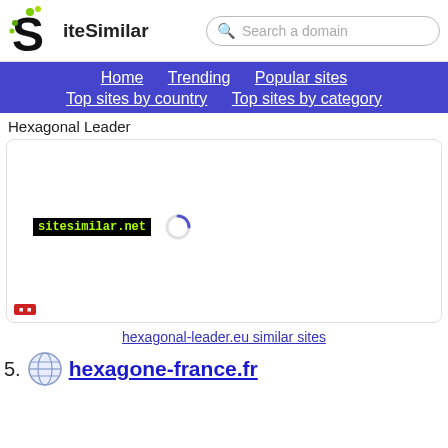SiteSimilar — Search a domain — Home | Trending | Popular sites | Top sites by country | Top sites by category
Hexagonal Leader
[Figure (screenshot): Website preview card for hexagonal-leader.eu showing sitesimilar.net watermark in green on black background and a loading spinner, with a small red banner in the bottom left corner]
hexagonal-leader.eu similar sites
55. hexagone-france.fr